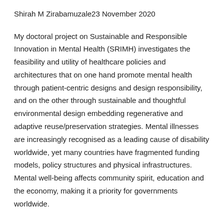Shirah M Zirabamuzale23 November 2020
My doctoral project on Sustainable and Responsible Innovation in Mental Health (SRIMH) investigates the feasibility and utility of healthcare policies and architectures that on one hand promote mental health through patient-centric designs and design responsibility, and on the other through sustainable and thoughtful environmental design embedding regenerative and adaptive reuse/preservation strategies. Mental illnesses are increasingly recognised as a leading cause of disability worldwide, yet many countries have fragmented funding models, policy structures and physical infrastructures. Mental well-being affects community spirit, education and the economy, making it a priority for governments worldwide.